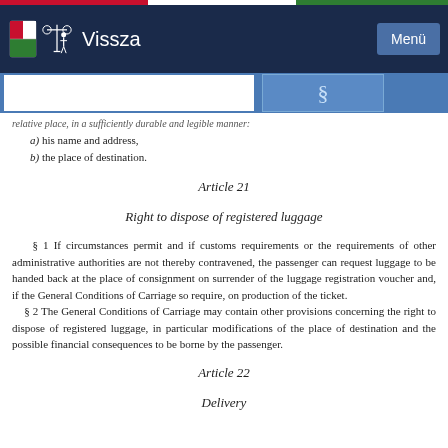Vissza | Menü
relative place, in a sufficiently durable and legible manner:
a) his name and address,
b) the place of destination.
Article 21
Right to dispose of registered luggage
§ 1 If circumstances permit and if customs requirements or the requirements of other administrative authorities are not thereby contravened, the passenger can request luggage to be handed back at the place of consignment on surrender of the luggage registration voucher and, if the General Conditions of Carriage so require, on production of the ticket.
§ 2 The General Conditions of Carriage may contain other provisions concerning the right to dispose of registered luggage, in particular modifications of the place of destination and the possible financial consequences to be borne by the passenger.
Article 22
Delivery